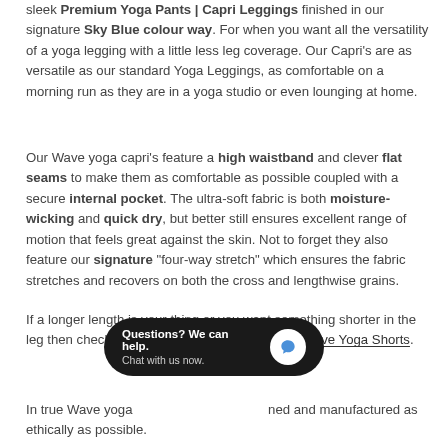sleek Premium Yoga Pants | Capri Leggings finished in our signature Sky Blue colour way. For when you want all the versatility of a yoga legging with a little less leg coverage. Our Capri's are as versatile as our standard Yoga Leggings, as comfortable on a morning run as they are in a yoga studio or even lounging at home.
Our Wave yoga capri's feature a high waistband and clever flat seams to make them as comfortable as possible coupled with a secure internal pocket. The ultra-soft fabric is both moisture-wicking and quick dry, but better still ensures excellent range of motion that feels great against the skin. Not to forget they also feature our signature "four-way stretch" which ensures the fabric stretches and recovers on both the cross and lengthwise grains.
If a longer length is your thing or you want something shorter in the leg then check out our Wave Yoga Leggings or Wave Yoga Shorts.
[Figure (screenshot): Chat widget popup: black rounded rectangle with text 'Questions? We can help. Chat with us now.' and a white circle icon with blue speech bubble]
In true Wave yoga... ned and manufactured as ethically as possible.